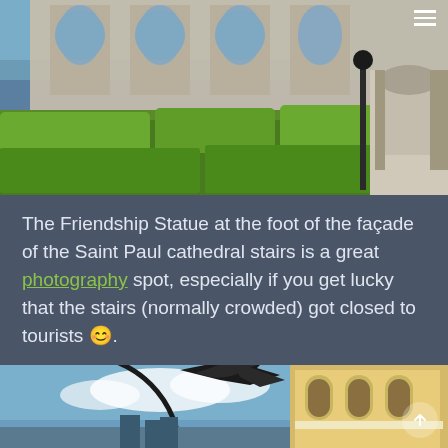[Figure (photo): Photo of Saint Paul cathedral facade with ornate stone architecture and topiary gardens in the foreground, green hedges and orange flowers visible]
The Friendship Statue at the foot of the façade of the Saint Paul cathedral stairs is a great photography spot, especially if you get lucky that the stairs (normally crowded) got closed to tourists 😊.
[Figure (photo): Photo of a metal bird sculpture (Friendship Statue) set against a blue sky with clouds, with a yellow colonial-era building with arched windows in the background]